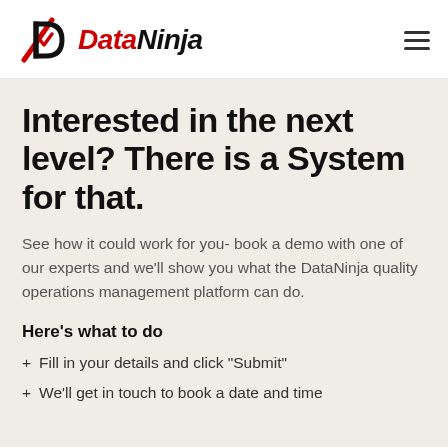DataNinja
Interested in the next level? There is a System for that.
See how it could work for you- book a demo with one of our experts and we'll show you what the DataNinja quality operations management platform can do.
Here's what to do
Fill in your details and click "Submit"
We'll get in touch to book a date and time